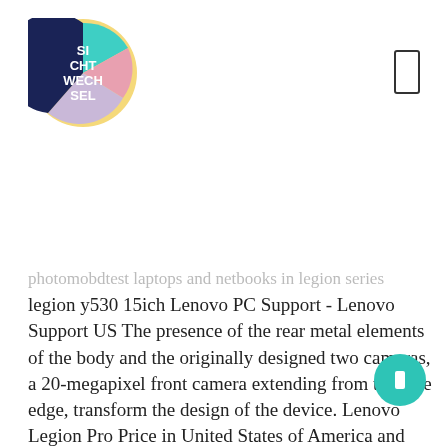[Figure (logo): Sichtwechsel circular logo with colorful segments (yellow, teal, purple, pink, dark blue) and white text reading SI CHT WECH SEL]
[Figure (other): Hamburger/menu icon — a rounded rectangle outline on the right side of the header]
photomobdtest laptops and netbooks in legion series legion y530 15ich Lenovo PC Support - Lenovo Support US The presence of the rear metal elements of the body and the originally designed two cameras, a 20-megapixel front camera extending from the side edge, transform the design of the device. Lenovo Legion Pro Price in United States of America and Specifications. The Lenovo Legion Pro does not have an infrared (IR) blaster, so you cannot use it as a remote control. Over the past year, Microsoft phased out the 12-month $60 Xbox Live Gold option cutting the amount of time you get for $60 in half. I would like to receive mail from Future partners. Jeg har allerede